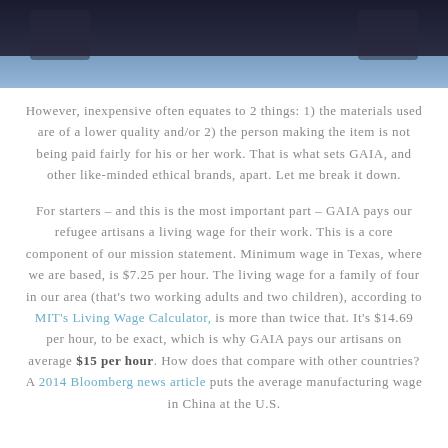[Figure (photo): Cropped photo of a person wearing a dark sparkly top and light blue jeans, showing torso/midsection only.]
However, inexpensive often equates to 2 things: 1) the materials used are of a lower quality and/or 2) the person making the item is not being paid fairly for his or her work. That is what sets GAIA, and other like-minded ethical brands, apart. Let me break it down.
For starters – and this is the most important part – GAIA pays our refugee artisans a living wage for their work. This is a core component of our mission statement. Minimum wage in Texas, where we are based, is $7.25 per hour. The living wage for a family of four in our area (that's two working adults and two children), according to MIT's Living Wage Calculator, is more than twice that. It's $14.69 per hour, to be exact, which is why GAIA pays our artisans on average $15 per hour. How does that compare with other countries? A 2014 Bloomberg news article puts the average manufacturing wage in China at the U.S.